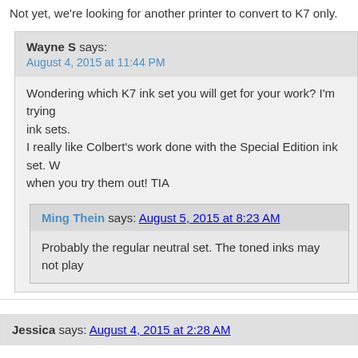Not yet, we're looking for another printer to convert to K7 only.
Wayne S says: August 4, 2015 at 11:44 PM
Wondering which K7 ink set you will get for your work? I'm trying ink sets.
I really like Colbert's work done with the Special Edition ink set. W when you try them out! TIA
Ming Thein says: August 5, 2015 at 8:23 AM
Probably the regular neutral set. The toned inks may not play
Jessica says: August 4, 2015 at 2:28 AM